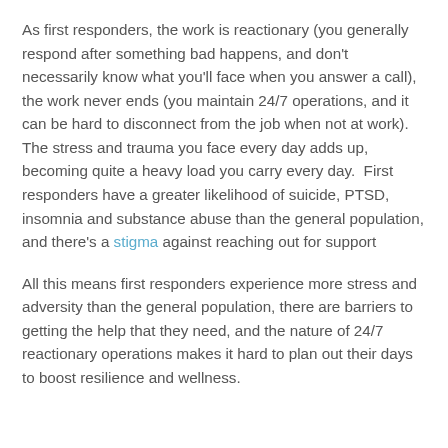As first responders, the work is reactionary (you generally respond after something bad happens, and don't necessarily know what you'll face when you answer a call), the work never ends (you maintain 24/7 operations, and it can be hard to disconnect from the job when not at work).  The stress and trauma you face every day adds up, becoming quite a heavy load you carry every day.  First responders have a greater likelihood of suicide, PTSD, insomnia and substance abuse than the general population, and there's a stigma against reaching out for support
All this means first responders experience more stress and adversity than the general population, there are barriers to getting the help that they need, and the nature of 24/7 reactionary operations makes it hard to plan out their days to boost resilience and wellness.